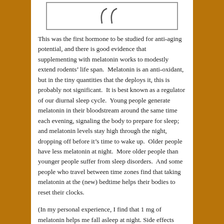[Figure (illustration): Partial illustration showing curved lines resembling quotation marks or a decorative motif at the top of the page]
This was the first hormone to be studied for anti-aging potential, and there is good evidence that supplementing with melatonin works to modestly extend rodents’ life span. Melatonin is an anti-oxidant, but in the tiny quantities that the deploys it, this is probably not significant. It is best known as a regulator of our diurnal sleep cycle. Young people generate melatonin in their bloodstream around the same time each evening, signaling the body to prepare for sleep; and melatonin levels stay high through the night, dropping off before it’s time to wake up. Older people have less melatonin at night. More older people than younger people suffer from sleep disorders. And some people who travel between time zones find that taking melatonin at the (new) bedtime helps their bodies to reset their clocks.
(In my personal experience, I find that 1 mg of melatonin helps me fall asleep at night. Side effects include morning “sand” in my eyes, exacerbation of apnea, and possibly